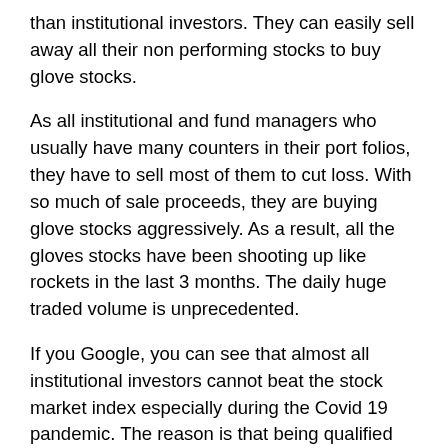than institutional investors. They can easily sell away all their non performing stocks to buy glove stocks.
As all institutional and fund managers who usually have many counters in their port folios, they have to sell most of them to cut loss. With so much of sale proceeds, they are buying glove stocks aggressively. As a result, all the gloves stocks have been shooting up like rockets in the last 3 months. The daily huge traded volume is unprecedented.
If you Google, you can see that almost all institutional investors cannot beat the stock market index especially during the Covid 19 pandemic. The reason is that being qualified accountants they always select stocks based on the historical accounts of the companies. Moreover, they cannot easily sell away their non performing stocks because they are holding so much.